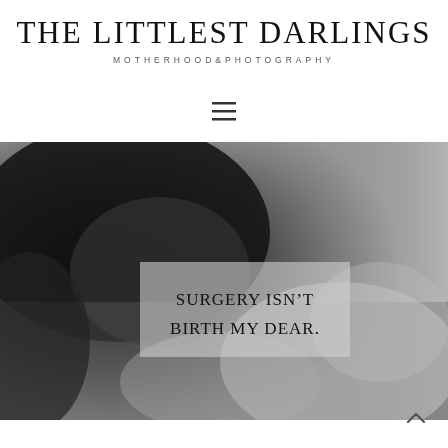THE LITTLEST DARLINGS
MOTHERHOOD&PHOTOGRAPHY
[Figure (other): Hamburger menu icon with three horizontal lines]
[Figure (photo): Black and white photograph of a woman holding a newborn baby, hospital setting. Overlaid text box reads: SURGERY ISN'T BIRTH MY DEAR.]
SURGERY ISN'T BIRTH MY DEAR.